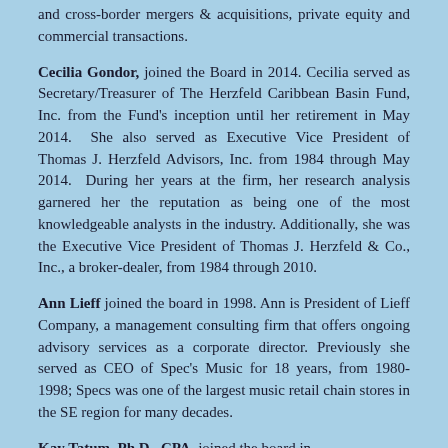and cross-border mergers & acquisitions, private equity and commercial transactions.
Cecilia Gondor, joined the Board in 2014. Cecilia served as Secretary/Treasurer of The Herzfeld Caribbean Basin Fund, Inc. from the Fund's inception until her retirement in May 2014. She also served as Executive Vice President of Thomas J. Herzfeld Advisors, Inc. from 1984 through May 2014. During her years at the firm, her research analysis garnered her the reputation as being one of the most knowledgeable analysts in the industry. Additionally, she was the Executive Vice President of Thomas J. Herzfeld & Co., Inc., a broker-dealer, from 1984 through 2010.
Ann Lieff joined the board in 1998. Ann is President of Lieff Company, a management consulting firm that offers ongoing advisory services as a corporate director. Previously she served as CEO of Spec's Music for 18 years, from 1980-1998; Specs was one of the largest music retail chain stores in the SE region for many decades.
Kay Tatum, Ph.D., CPA, joined the board in